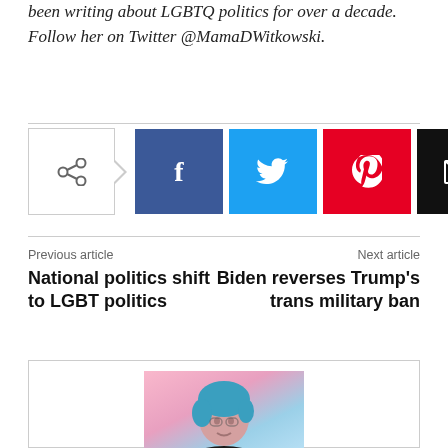been writing about LGBTQ politics for over a decade. Follow her on Twitter @MamaDWitkowski.
[Figure (infographic): Social share bar with share button (arrow icon), Facebook (f), Twitter (bird), Pinterest (p), and email (envelope) icon buttons]
Previous article
Next article
National politics shift to LGBT politics
Biden reverses Trump's trans military ban
[Figure (photo): Author photo of a person with blue hair wearing a black jacket, in front of a colorful pink and blue background]